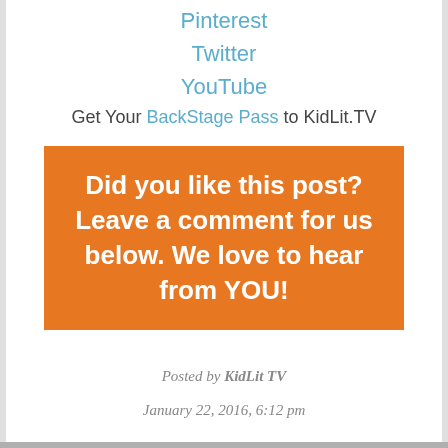Pinterest
Twitter
YouTube
Get Your BackStage Pass to KidLit.TV
[Figure (infographic): Orange box with white bold text: Did you like this post? Leave a comment for us below. We love to hear from YOU!]
Posted by KidLit TV
January 22, 2016, 6:12 pm